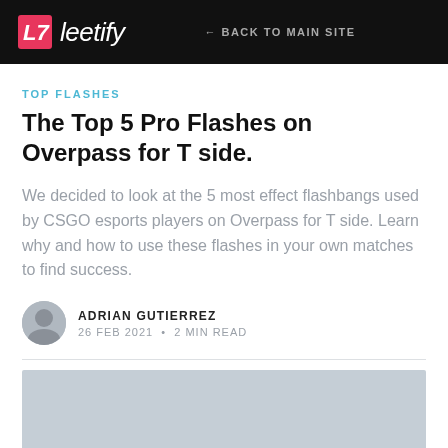leetify — BACK TO MAIN SITE
TOP FLASHES
The Top 5 Pro Flashes on Overpass for T side.
We decided to look at the 5 most effect flashbangs used by CSGO esports players on Overpass for T side. Learn why and how to use these flashes in your own matches to find success.
ADRIAN GUTIERREZ
26 FEB 2021 • 2 MIN READ
[Figure (photo): Light blue-grey placeholder image area below a horizontal rule separator]